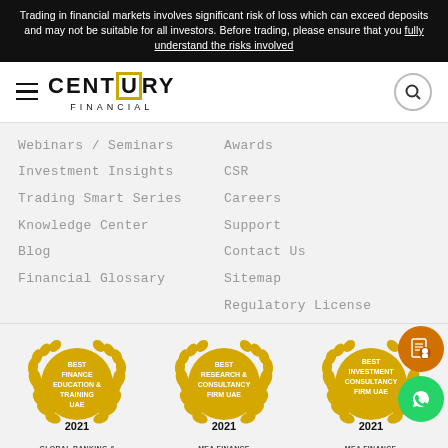Trading in financial markets involves significant risk of loss which can exceed deposits and may not be suitable for all investors. Before trading, please ensure that you fully understand the risks involved
[Figure (logo): Century Financial logo with hamburger menu icon on left and search icon on right]
Webinars / Seminars
Investment Insights
Trading Smart Series
Knowledge Center
Blog
Financial Glossary
Awards
CSR
Careers
Support
Contact Us
Sitemap
Regulatory License
[Figure (illustration): Three award badges with gold laurel wreaths. Badge 1: BEST FINANCE EDUCATION & TRAINING UAE 2021 GLOBAL BANKING & FINANCE REVIEW. Badge 2: BEST RESEARCH & CONSULTANCY FIRM UAE 2021 MEA FINANCE AWARDS. Badge 3: BEST INVESTMENT CONSULTANCY FIRM UAE 2021 MEA FINANCE AWARDS. Two floating button icons on right side (orange document/profile and green WhatsApp).]